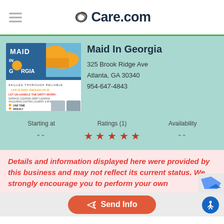Care.com
[Figure (photo): Maid In Georgia business advertisement image showing cleaning gloves, cleaning supplies, and service offerings including one time, weekly, bi-weekly, monthly options]
Maid In Georgia
325 Brook Ridge Ave
Atlanta, GA 30340
954-647-4843
Starting at
--
Ratings (1)
★ ★ ★ ★ ★
Availability
--
Details and information displayed here were provided by this business and may not reflect its current status. We strongly encourage you to perform your own
Send Info